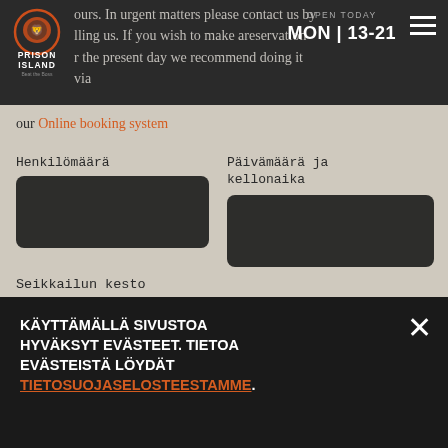Prison Island | OPEN TODAY MON | 13-21
ours. In urgent matters please contact us by calling us. If you wish to make a reservation for the present day we recommend doing it via our Online booking system
Henkilömäärä
Päivämäärä ja kellonaika
Seikkailun kesto
60 min
KÄYTTÄMÄLLÄ SIVUSTOA HYVÄKSYT EVÄSTEET. TIETOA EVÄSTEISTÄ LÖYDÄT TIETOSUOJASELOSTEESTAMME.